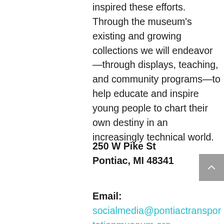inspired these efforts. Through the museum's existing and growing collections we will endeavor—through displays, teaching, and community programs—to help educate and inspire young people to chart their own destiny in an increasingly technical world.
250 W Pike St
Pontiac, MI 48341
Email: socialmedia@pontiactransportationmuseum.org
Cost: Not open yet
Plan: n/a